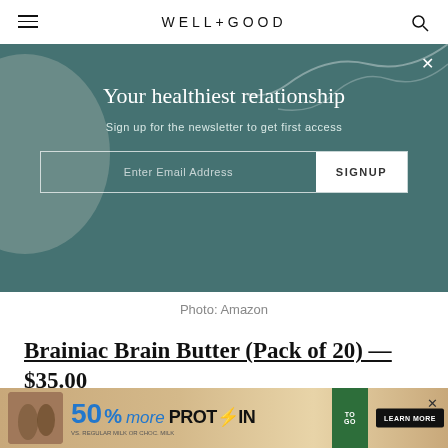WELL+GOOD
[Figure (infographic): Teal newsletter signup banner with headline 'Your healthiest relationship', subtitle 'Sign up for the newsletter to get first access', email input field and SIGNUP button]
Photo: Amazon
Brainiac Brain Butter (Pack of 20) — $35.00
IMO, anything that has brain and butter in the name
[Figure (infographic): Advertisement banner for protein drink: '50% more PROTEIN' with LEARN MORE button and TO GO tag]